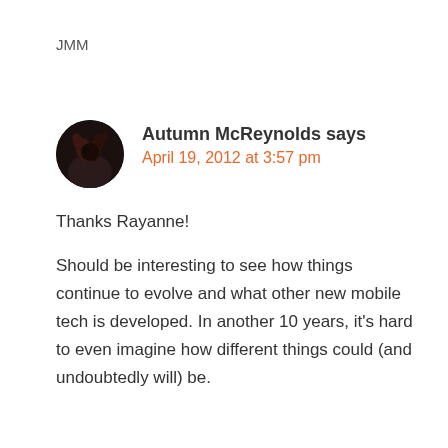JMM
Autumn McReynolds says
April 19, 2012 at 3:57 pm
Thanks Rayanne!
Should be interesting to see how things continue to evolve and what other new mobile tech is developed. In another 10 years, it’s hard to even imagine how different things could (and undoubtedly will) be.